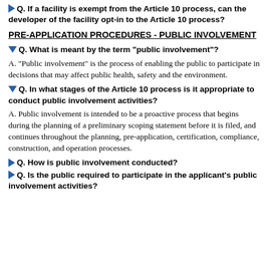Q. If a facility is exempt from the Article 10 process, can the developer of the facility opt-in to the Article 10 process?
PRE-APPLICATION PROCEDURES - PUBLIC INVOLVEMENT
Q. What is meant by the term "public involvement"?
A. "Public involvement" is the process of enabling the public to participate in decisions that may affect public health, safety and the environment.
Q. In what stages of the Article 10 process is it appropriate to conduct public involvement activities?
A. Public involvement is intended to be a proactive process that begins during the planning of a preliminary scoping statement before it is filed, and continues throughout the planning, pre-application, certification, compliance, construction, and operation processes.
Q. How is public involvement conducted?
Q. Is the public required to participate in the applicant's public involvement activities?